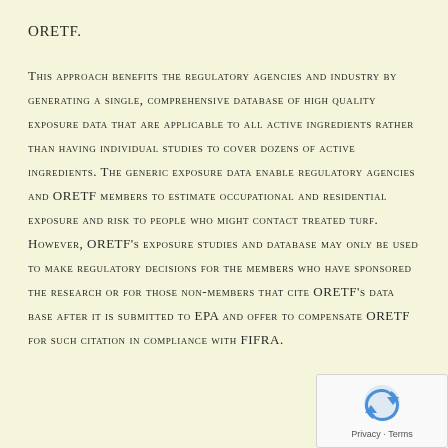ORETF.
This approach benefits the regulatory agencies and industry by generating a single, comprehensive database of high quality exposure data that are applicable to all active ingredients rather than having individual studies to cover dozens of active ingredients. The generic exposure data enable regulatory agencies and ORETF members to estimate occupational and residential exposure and risk to people who might contact treated turf. However, ORETF's exposure studies and database may only be used to make regulatory decisions for the members who have sponsored the research or for those non-members that cite ORETF's data base after it is submitted to EPA and offer to compensate ORETF for such citation in compliance with FIFRA.